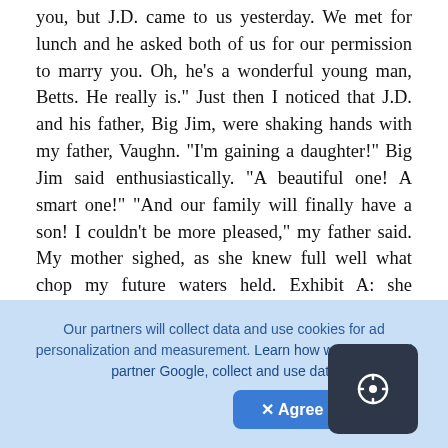you, but J.D. came to us yesterday. We met for lunch and he asked both of us for our permission to marry you. Oh, he's a wonderful young man, Betts. He really is." Just then I noticed that J.D. and his father, Big Jim, were shaking hands with my father, Vaughn. "I'm gaining a daughter!" Big Jim said enthusiastically. "A beautiful one! A smart one!" "And our family will finally have a son! I couldn't be more pleased," my father said. My mother sighed, as she knew full well what chop my future waters held. Exhibit A: she nudged me and nodded toward Louisa, who was listing back and forth, doing wibble-wobble, as she silently poured cham into the flutes. What in the world? Where were her congratulations? Were those few words on the terrace the best she had to offer? Wait! Had Louisa
[Figure (other): Dark rounded square button with a circle-arrow upload/add icon in white]
Our partners will collect data and use cookies for ad personalization and measurement. Learn how we and our ad partner Google, collect and use data
✕ Agree Cookies